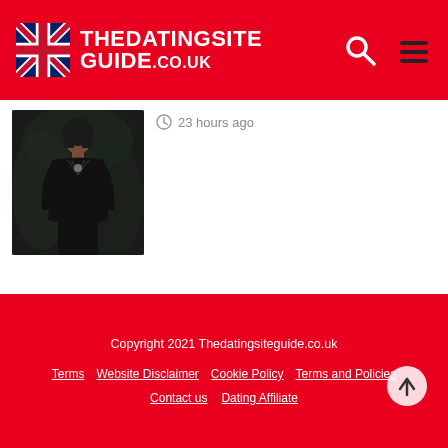THEDATINGSITE GUIDE.co.uk
[Figure (photo): Photo of a woman wearing a black leather jacket and black top, outdoors]
23 hours ago
Copyright 2021 Thedatingsiteguide.co.uk
Terms | Website Disclaimer | Cookie Policy | Terms and Policies
Contact us | Dating Affiliate